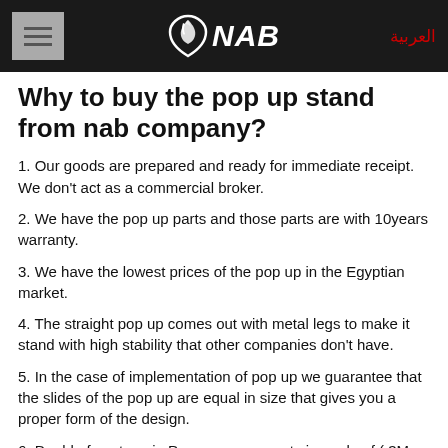NAB | العربية
Why to buy the pop up stand from nab company?
1. Our goods are prepared and ready for immediate receipt.  We don't act as a commercial broker.
2. We have the pop up parts and those parts are with 10years warranty.
3. We have the lowest prices of the pop up in the Egyptian market.
4. The straight pop up comes out with metal legs to make it stand with high stability that other companies don't have.
5. In the case of implementation of pop up we guarantee that the slides of the pop up are equal in size that gives you a proper form of the design.
6. Double face tape in Pop up components is made of ( 3M brand ) which we add to it an additional kind of glue to be sure that the components of the pop up won't disintegrate in the future.